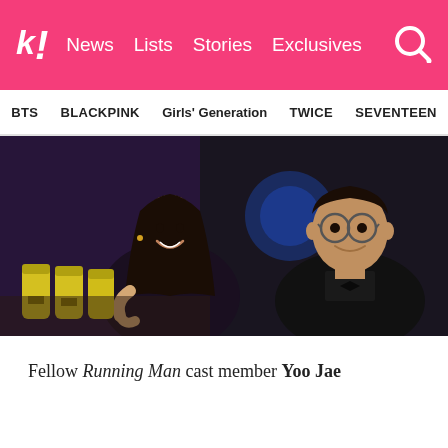k! News Lists Stories Exclusives
BTS BLACKPINK Girls' Generation TWICE SEVENTEEN
[Figure (photo): Two people sitting together at an event. A smiling woman on the left in a floral/dark outfit with drinks visible on a table beside her, and a man on the right wearing glasses and a black suit with bow tie, both appearing cheerful.]
Fellow Running Man cast member Yoo Jae